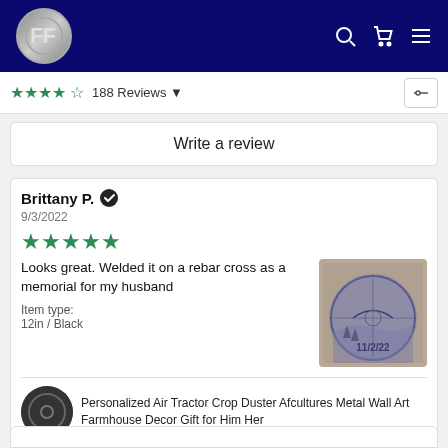AF logo header with search, cart, and menu icons
188 Reviews
Write a review
Brittany P. ✔ 9/3/2022 ★★★★★ Looks great. Welded it on a rebar cross as a memorial for my husband Item type: 12in / Black
Personalized Air Tractor Crop Duster Afcultures Metal Wall Art Farmhouse Decor Gift for Him Her